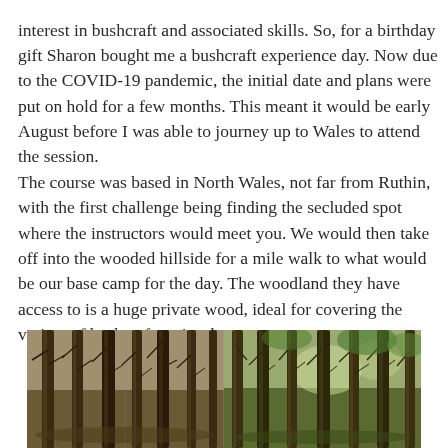interest in bushcraft and associated skills. So, for a birthday gift Sharon bought me a bushcraft experience day. Now due to the COVID-19 pandemic, the initial date and plans were put on hold for a few months. This meant it would be early August before I was able to journey up to Wales to attend the session.
The course was based in North Wales, not far from Ruthin, with the first challenge being finding the secluded spot where the instructors would meet you. We would then take off into the wooded hillside for a mile walk to what would be our base camp for the day. The woodland they have access to is a huge private wood, ideal for covering the variety of bushcraft topics they run courses on.
[Figure (photo): A forest scene showing tall tree trunks in a wooded hillside, with multiple panels depicting pine/conifer trees, some with sparse winter branches and others with green foliage. The image has a warm, slightly sepia tone on the left and greener tones on the right.]